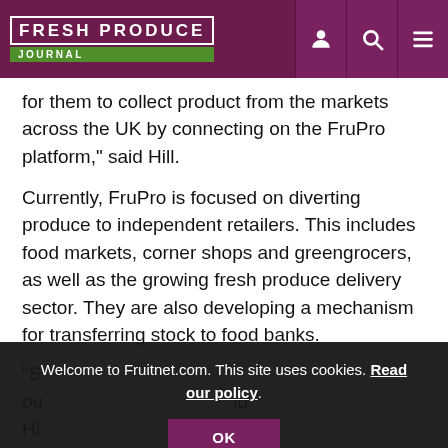FRESH PRODUCE JOURNAL
for them to collect product from the markets across the UK by connecting on the FruPro platform," said Hill.
Currently, FruPro is focused on diverting produce to independent retailers. This includes food markets, corner shops and greengrocers, as well as the growing fresh produce delivery sector. They are also developing a mechanism for transferring stock to food banks.
"S... ou... id Hi... a... that we can get stock to them quickly – and then on to the general public. Greengrocers, butchers and fishmongers
Welcome to Fruitnet.com. This site uses cookies. Read our policy.